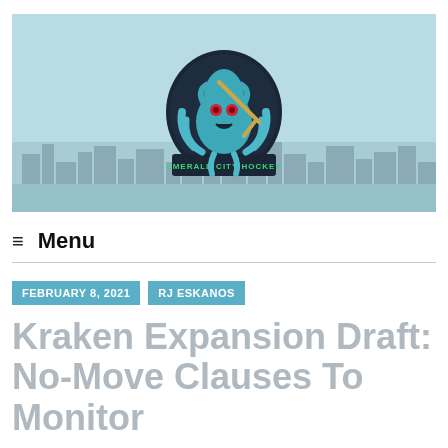[Figure (logo): Emerald City Hockey logo featuring a squid/kraken mascot holding a hockey stick, with city skyline background, light blue color scheme]
≡ Menu
FEBRUARY 8, 2021  RJ ESKANOS
Kraken Expansion Draft: No-Move Clauses To Monitor